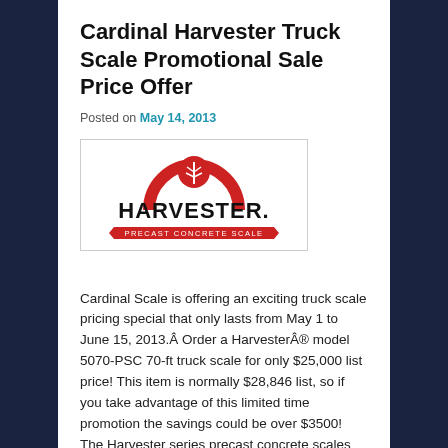Cardinal Harvester Truck Scale Promotional Sale Price Offer
Posted on May 14, 2013
[Figure (logo): Harvester Precast Concrete Scale logo — red semicircle with wheat icon above bold black HARVESTER text, red arrow banner below reading PRECAST CONCRETE SCALE]
Cardinal Scale is offering an exciting truck scale pricing special that only lasts from May 1 to June 15, 2013.Â Order a HarvesterÂ® model 5070-PSC 70-ft truck scale for only $25,000 list price! This item is normally $28,846 list, so if you take advantage of this limited time promotion the savings could be over $3500! The Harvester series precast concrete scales offer an economical approach to truck weighing for farms.
The Harvester follows...